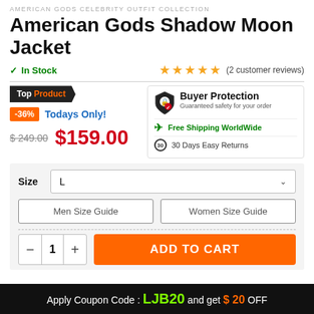AMERICAN GODS CELEBRITY OUTFIT COLLECTION
American Gods Shadow Moon Jacket
✓ In Stock   ★★★★★ (2 customer reviews)
Top Product  -36%  Todays Only!  $249.00  $159.00
Buyer Protection - Guaranteed safety for your order. Free Shipping WorldWide. 30 Days Easy Returns.
Size: L
Men Size Guide  Women Size Guide
- 1 +  ADD TO CART
Apply Coupon Code : LJB20 and get $ 20 OFF